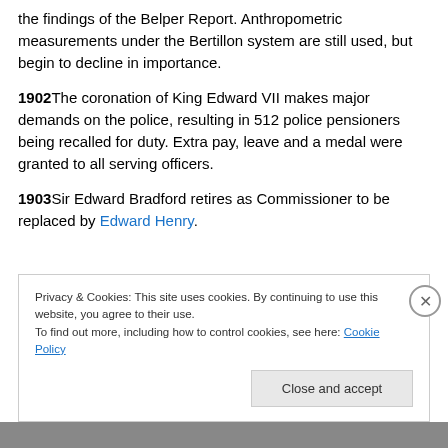the findings of the Belper Report. Anthropometric measurements under the Bertillon system are still used, but begin to decline in importance.
1902 The coronation of King Edward VII makes major demands on the police, resulting in 512 police pensioners being recalled for duty. Extra pay, leave and a medal were granted to all serving officers.
1903 Sir Edward Bradford retires as Commissioner to be replaced by Edward Henry.
Privacy & Cookies: This site uses cookies. By continuing to use this website, you agree to their use. To find out more, including how to control cookies, see here: Cookie Policy